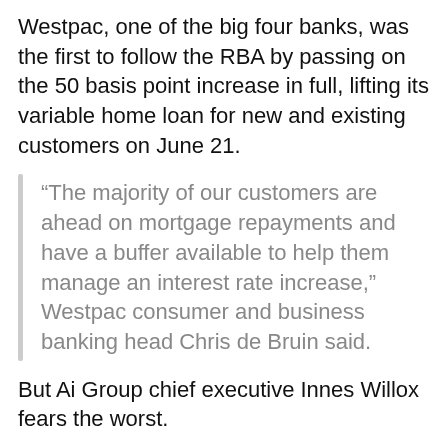Westpac, one of the big four banks, was the first to follow the RBA by passing on the 50 basis point increase in full, lifting its variable home loan for new and existing customers on June 21.
“The majority of our customers are ahead on mortgage repayments and have a buffer available to help them manage an interest rate increase,” Westpac consumer and business banking head Chris de Bruin said.
But Ai Group chief executive Innes Willox fears the worst.
“We are now at risk of a wages and inflation and interest rates death spiral,” he told Sky News,